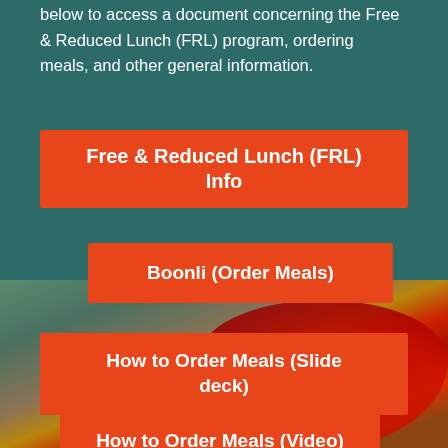below to access a document concerning the Free & Reduced Lunch (FRL) program, ordering meals, and other general information.
Free & Reduced Lunch (FRL) Info
Boonli (Order Meals)
How to Order Meals (Slide deck)
How to Order Meals (Video)